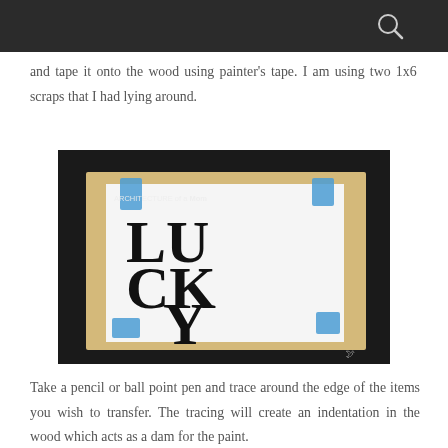and tape it onto the wood using painter's tape. I am using two 1x6 scraps that I had lying around.
[Figure (photo): Photo of a piece of paper with the word LUCKY printed in large black block letters, taped onto a piece of wood with blue painter's tape. The watermark 'Architecture of a Mom' is visible in the upper left corner.]
Take a pencil or ball point pen and trace around the edge of the items you wish to transfer. The tracing will create an indentation in the wood which acts as a dam for the paint.